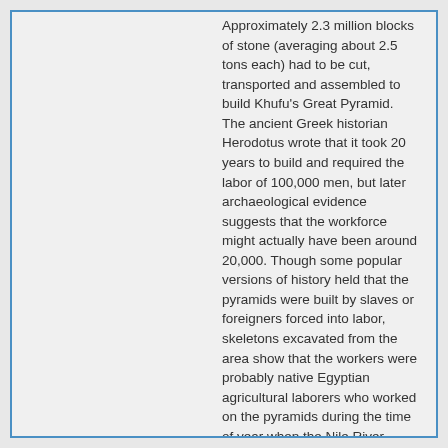Approximately 2.3 million blocks of stone (averaging about 2.5 tons each) had to be cut, transported and assembled to build Khufu's Great Pyramid. The ancient Greek historian Herodotus wrote that it took 20 years to build and required the labor of 100,000 men, but later archaeological evidence suggests that the workforce might actually have been around 20,000. Though some popular versions of history held that the pyramids were built by slaves or foreigners forced into labor, skeletons excavated from the area show that the workers were probably native Egyptian agricultural laborers who worked on the pyramids during the time of year when the Nile River flooded much of the land nearby.
The End Of The Pyramid Era
Pyramids continued to be built throughout the fifth and sixth dynasties, but the general quality and scale of their construction declined over this period, along with the power and wealth of the kings themselves. In the later Old Kingdom pyramids, beginning with that of King Unas (2375-2345 B.C), pyramid builders began to inscribe written accounts of events in the king's reign on the walls of the burial chamber and the rest of the pyramid's interior. Known as pyramid texts, these are the earliest significant religious compositions known from